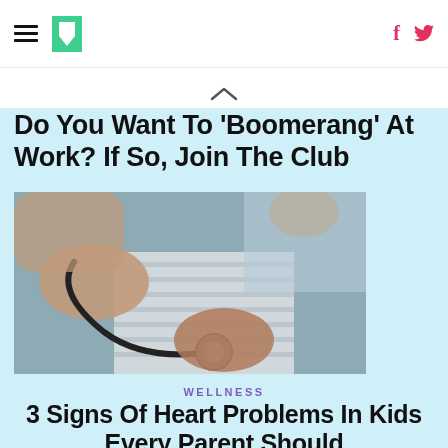HuffPost navigation header with hamburger menu, logo, Facebook and Twitter icons
Do You Want To 'Boomerang' At Work? If So, Join The Club
[Figure (photo): Close-up of a doctor or medical professional using a stethoscope on a patient wearing a striped shirt]
WELLNESS
3 Signs Of Heart Problems In Kids Every Parent Should